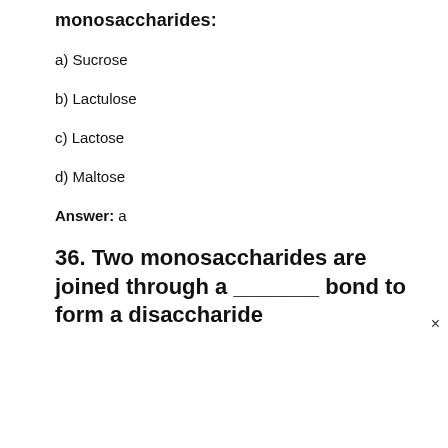monosaccharides:
a) Sucrose
b) Lactulose
c) Lactose
d) Maltose
Answer: a
36. Two monosaccharides are joined through a _______ bond to form a disaccharide